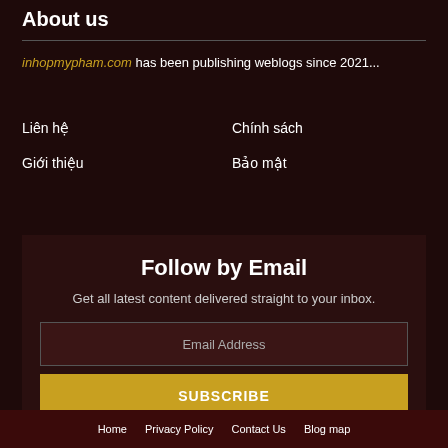About us
inhopmypham.com has been publishing weblogs since 2021...
Liên hệ
Chính sách
Giới thiệu
Bảo mật
Follow by Email
Get all latest content delivered straight to your inbox.
Email Address
SUBSCRIBE
Home   Privacy Policy   Contact Us   Blog map